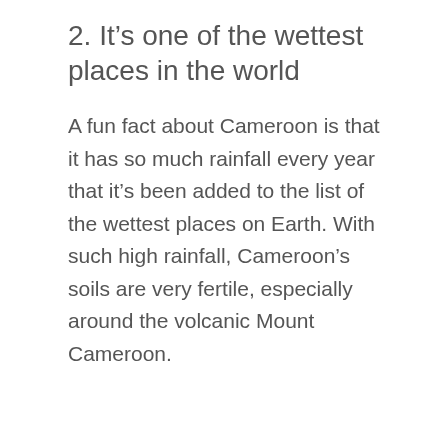2. It's one of the wettest places in the world
A fun fact about Cameroon is that it has so much rainfall every year that it's been added to the list of the wettest places on Earth. With such high rainfall, Cameroon's soils are very fertile, especially around the volcanic Mount Cameroon.